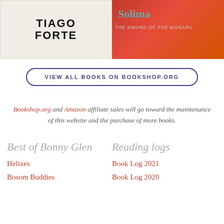[Figure (photo): Two book covers side by side. Left: white cover with 'TIAGO FORTE' in bold black text. Right: orange/red cover with teal title text 'Solima' and subtitle 'THE SWORD OF THE MONARC'.]
VIEW ALL BOOKS ON BOOKSHOP.ORG
Bookshop.org and Amazon affiliate sales will go toward the maintenance of this website and the purchase of more books.
Best of Bonny Glen
Reading logs
Helixes
Book Log 2021
Bosom Buddies
Book Log 2020